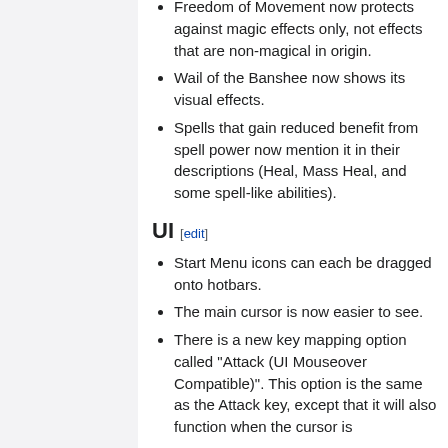Freedom of Movement now protects against magic effects only, not effects that are non-magical in origin.
Wail of the Banshee now shows its visual effects.
Spells that gain reduced benefit from spell power now mention it in their descriptions (Heal, Mass Heal, and some spell-like abilities).
UI [edit]
Start Menu icons can each be dragged onto hotbars.
The main cursor is now easier to see.
There is a new key mapping option called "Attack (UI Mouseover Compatible)". This option is the same as the Attack key, except that it will also function when the cursor is...